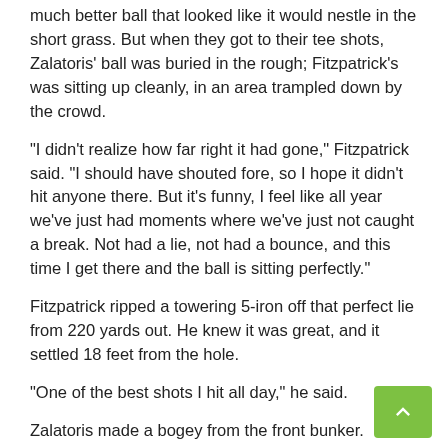much better ball that looked like it would nestle in the short grass. But when they got to their tee shots, Zalatoris' ball was buried in the rough; Fitzpatrick's was sitting up cleanly, in an area trampled down by the crowd.
“I didn’t realize how far right it had gone,” Fitzpatrick said. “I should have shouted fore, so I hope it didn’t hit anyone there. But it’s funny, I feel like all year we’ve just had moments where we’ve just not caught a break. Not had a lie, not had a bounce, and this time I get there and the ball is sitting perfectly.”
Fitzpatrick ripped a towering 5-iron off that perfect lie from 220 yards out. He knew it was great, and it settled 18 feet from the hole.
“One of the best shots I hit all day,” he said.
Zalatoris made a bogey from the front bunker. Suddenly Fitzpatrick had a putt to take a 2-shot lead with three holes to play.
He rolled it right into the heart of the cup.